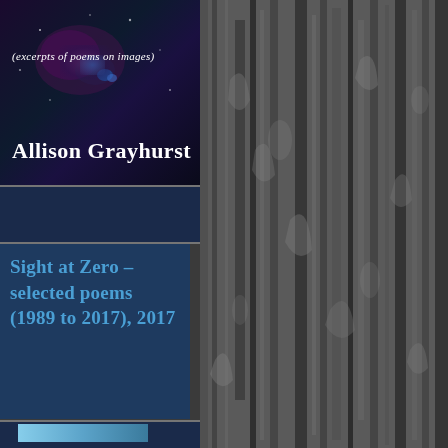[Figure (illustration): Book cover or website page showing author Allison Grayhurst with a dark cosmic/space background on the left panel and bark texture on the right. The left panel contains subtitle text, author name, and a book title in a steel blue box.]
(excerpts of poems on images)
Allison Grayhurst
Sight at Zero – selected poems (1989 to 2017), 2017